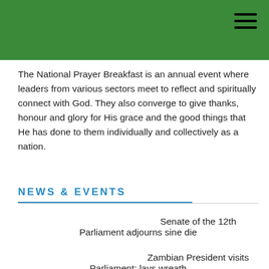The National Prayer Breakfast is an annual event where leaders from various sectors meet to reflect and spiritually connect with God. They also converge to give thanks, honour and glory for His grace and the good things that He has done to them individually and collectively as a nation.
News & Events
Senate of the 12th Parliament adjourns sine die
Zambian President visits Parliament; lays wreath